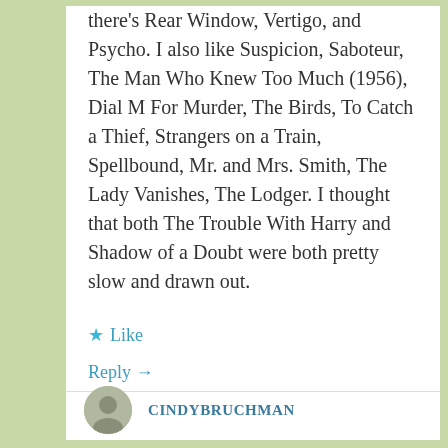there's Rear Window, Vertigo, and Psycho. I also like Suspicion, Saboteur, The Man Who Knew Too Much (1956), Dial M For Murder, The Birds, To Catch a Thief, Strangers on a Train, Spellbound, Mr. and Mrs. Smith, The Lady Vanishes, The Lodger. I thought that both The Trouble With Harry and Shadow of a Doubt were both pretty slow and drawn out.
★ Like
Reply →
CINDYBRUCHMAN